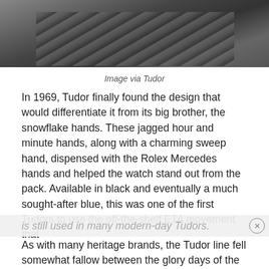[Figure (photo): Close-up black and white photograph of a watch bracelet with articulated links]
Image via Tudor
In 1969, Tudor finally found the design that would differentiate it from its big brother, the snowflake hands. These jagged hour and minute hands, along with a charming sweep hand, dispensed with the Rolex Mercedes hands and helped the watch stand out from the pack. Available in black and eventually a much sought-after blue, this was one of the first Tudors to use the off-the-shelf ETA movement that is still used in many modern-day Tudors.
As with many heritage brands, the Tudor line fell somewhat fallow between the glory days of the 1960s and the modern era. Brilliant design and